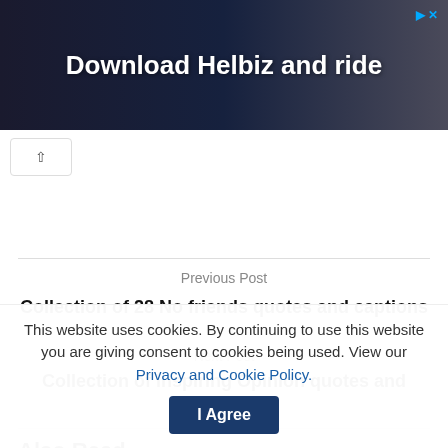[Figure (photo): Advertisement banner with dark city background showing 'Download Helbiz and ride' text]
Previous Post
Collection of 28 No friends quotes and captions
Next Post
Collection of Inspiring Opinion quotes and captions
Also Read
This website uses cookies. By continuing to use this website you are giving consent to cookies being used. View our Privacy and Cookie Policy.